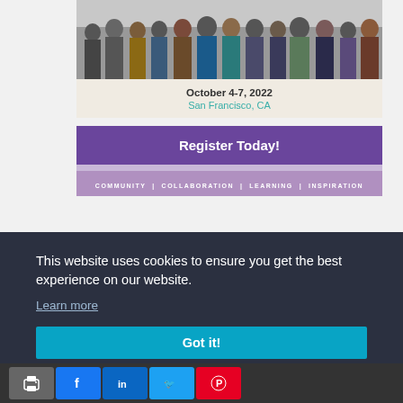[Figure (photo): Group photo of conference attendees standing together indoors]
October 4-7, 2022
San Francisco, CA
Register Today!
COMMUNITY  |  COLLABORATION  |  LEARNING  |  INSPIRATION
This website uses cookies to ensure you get the best experience on our website.
Learn more
Got it!